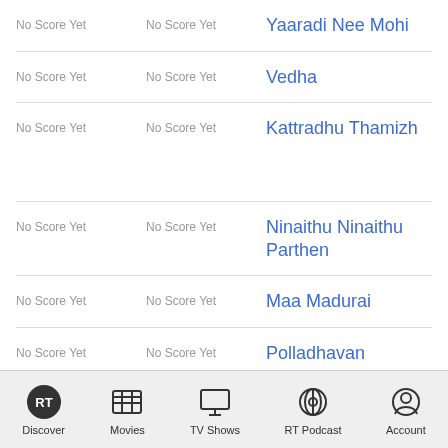No Score Yet | No Score Yet | Yaaradi Nee Mohi
No Score Yet | No Score Yet | Vedha
No Score Yet | No Score Yet | Kattradhu Thamizh
No Score Yet | No Score Yet | Ninaithu Ninaithu Parthen
No Score Yet | No Score Yet | Maa Madurai
No Score Yet | No Score Yet | Polladhavan
Discover | Movies | TV Shows | RT Podcast | Account